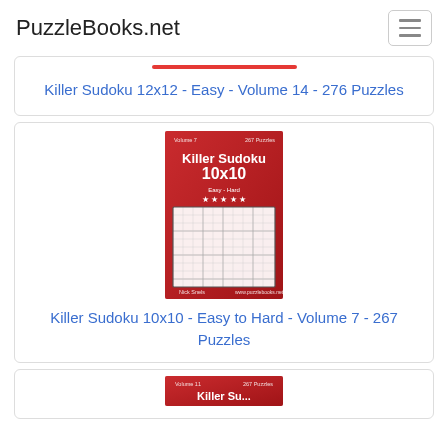PuzzleBooks.net
Killer Sudoku 12x12 - Easy - Volume 14 - 276 Puzzles
[Figure (illustration): Book cover for Killer Sudoku 10x10 - Easy to Hard - Volume 7 - 267 Puzzles. Red cover with sudoku grid.]
Killer Sudoku 10x10 - Easy to Hard - Volume 7 - 267 Puzzles
[Figure (illustration): Partial book cover for another Killer Sudoku volume, red cover, partially visible at bottom of page.]